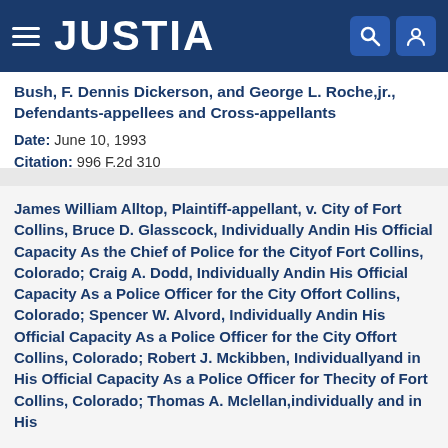JUSTIA
Bush, F. Dennis Dickerson, and George L. Roche,jr., Defendants-appellees and Cross-appellants
Date: June 10, 1993
Citation: 996 F.2d 310
James William Alltop, Plaintiff-appellant, v. City of Fort Collins, Bruce D. Glasscock, Individually Andin His Official Capacity As the Chief of Police for the Cityof Fort Collins, Colorado; Craig A. Dodd, Individually Andin His Official Capacity As a Police Officer for the City Offort Collins, Colorado; Spencer W. Alvord, Individually Andin His Official Capacity As a Police Officer for the City Offort Collins, Colorado; Robert J. Mckibben, Individuallyand in His Official Capacity As a Police Officer for Thecity of Fort Collins, Colorado; Thomas A. Mclellan,individually and in His